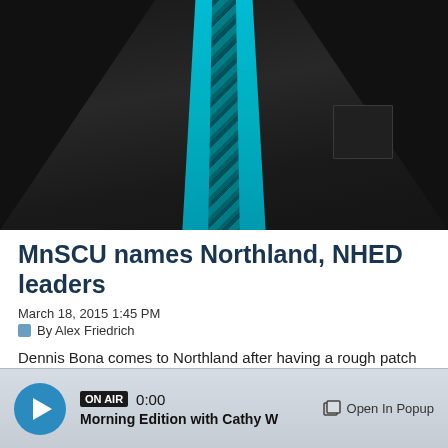[Figure (photo): Close-up of a man in a dark charcoal suit jacket wearing a bright teal/cyan shirt and a teal plaid tie, with a suit pocket visible on the right side.]
MnSCU names Northland, NHED leaders
March 18, 2015 1:45 PM
By Alex Friedrich
Dennis Bona comes to Northland after having a rough patch at Kellogg Community College in Michigan.
ON AIR  0:00  Morning Edition with Cathy W   Open In Popup